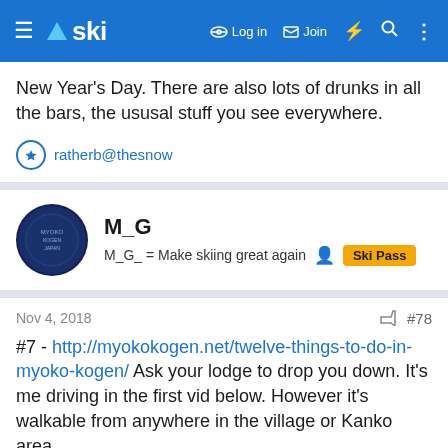≡ △ski   🔑 Log in   🗒 Join   ⚡   🔍   ⋮
New Year's Day. There are also lots of drunks in all the bars, the ususal stuff you see everywhere.
ratherb@thesnow
M_G
M_G_ = Make skiing great again 🧑 Ski Pass
Nov 4, 2018  #78
#7 - http://myokokogen.net/twelve-things-to-do-in-myoko-kogen/ Ask your lodge to drop you down. It's me driving in the first vid below. However it's walkable from anywhere in the village or Kanko area.
[Figure (photo): Partially visible photo at the bottom of the page, appears to be a snow/mountain scene]